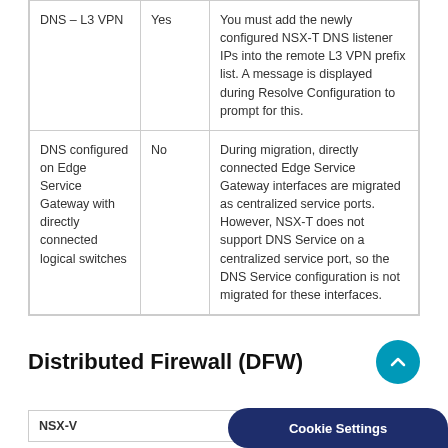| DNS – L3 VPN | Yes | You must add the newly configured NSX-T DNS listener IPs into the remote L3 VPN prefix list. A message is displayed during Resolve Configuration to prompt for this. |
| DNS configured on Edge Service Gateway with directly connected logical switches | No | During migration, directly connected Edge Service Gateway interfaces are migrated as centralized service ports. However, NSX-T does not support DNS Service on a centralized service port, so the DNS Service configuration is not migrated for these interfaces. |
Distributed Firewall (DFW)
| NSX-V |
| --- |
Cookie Settings